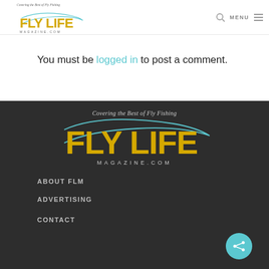Covering the Best of Fly Fishing | FLY LIFE MAGAZINE.COM | MENU
You must be logged in to post a comment.
[Figure (logo): Fly Life Magazine logo with tagline 'Covering the Best of Fly Fishing', large FLY LIFE text in gold with teal swoosh, MAGAZINE.COM in gray below]
ABOUT FLM
ADVERTISING
CONTACT